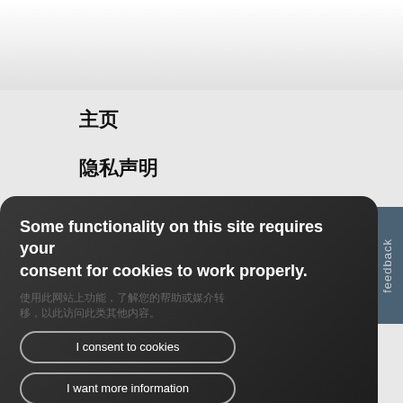主页
隐私声明
法律信息
feedback
Some functionality on this site requires your consent for cookies to work properly.
I consent to cookies
I want more information